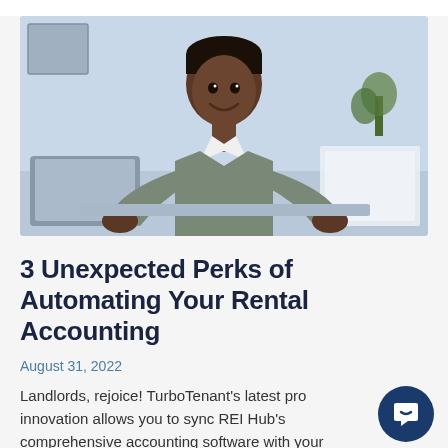[Figure (photo): A smiling Black man in a grey button-up shirt sitting at a desk with a laptop, holding papers, in a bright office setting.]
3 Unexpected Perks of Automating Your Rental Accounting
August 31, 2022
Landlords, rejoice! TurboTenant's latest pro innovation allows you to sync REI Hub's comprehensive accounting software with your TurboTenant...